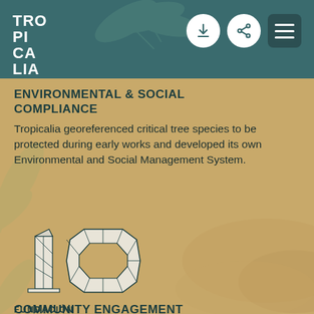TROPICALIA
ENVIRONMENTAL & SOCIAL COMPLIANCE
Tropicalia georeferenced critical tree species to be protected during early works and developed its own Environmental and Social Management System.
[Figure (logo): Fundación Tropicalia 10-year anniversary logo: geometric '10' numerals with triangulated faceted design above the text FUNDACIÓN TROPICALIA]
COMMUNITY ENGAGEMENT
Fundación Tropicalia celebrated its 10-year anniversary with an itinerant photography exhibition, which showcased the foundation's community development work throughout the years.